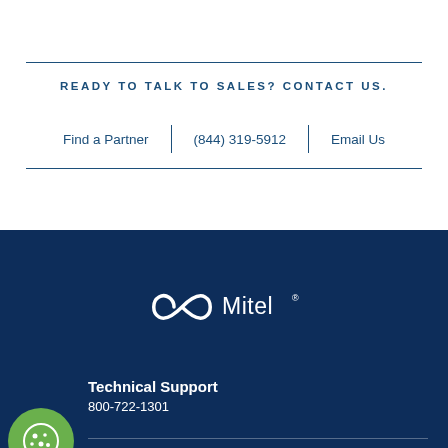READY TO TALK TO SALES? CONTACT US.
Find a Partner | (844) 319-5912 | Email Us
[Figure (logo): Mitel logo in white on dark navy background]
Technical Support
800-722-1301